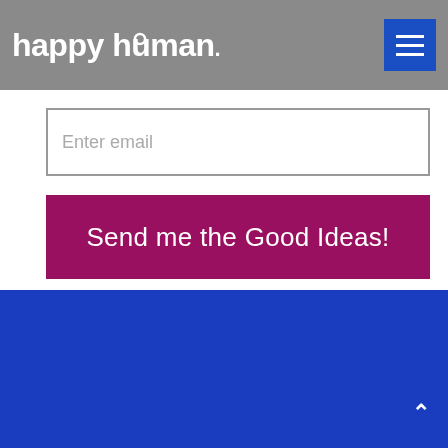happy human
Enter email
Send me the Good Ideas!
[Figure (illustration): Blue padlock icon]
We are seriously anti-spam.  We protect your info and respect your time.